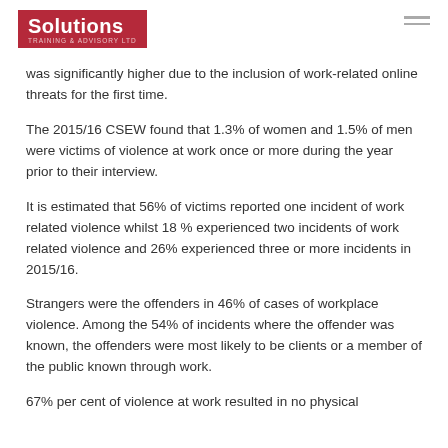Solutions Training & Advisory Ltd
was significantly higher due to the inclusion of work-related online threats for the first time.
The 2015/16 CSEW found that 1.3% of women and 1.5% of men were victims of violence at work once or more during the year prior to their interview.
It is estimated that 56% of victims reported one incident of work related violence whilst 18 % experienced two incidents of work related violence and 26% experienced three or more incidents in 2015/16.
Strangers were the offenders in 46% of cases of workplace violence. Among the 54% of incidents where the offender was known, the offenders were most likely to be clients or a member of the public known through work.
67% per cent of violence at work resulted in no physical